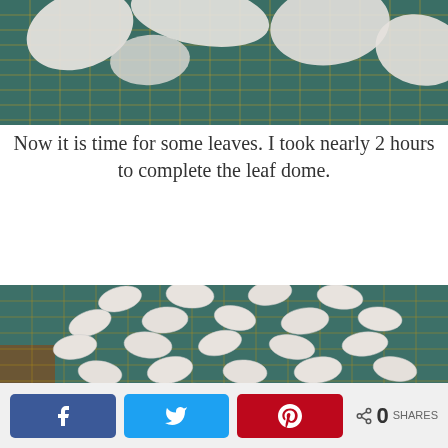[Figure (photo): Top portion of a photo showing white clay/fondant cut-outs scattered on a green cutting mat, partially cropped at top.]
Now it is time for some leaves. I took nearly 2 hours to complete the leaf dome.
[Figure (photo): White fondant/clay leaf shapes spread out on a green gridded cutting mat, photographed from above at an angle.]
Facebook share | Twitter share | Pinterest share | 0 SHARES